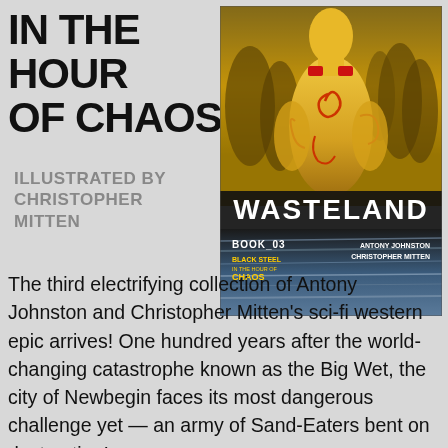IN THE HOUR OF CHAOS
ILLUSTRATED BY CHRISTOPHER MITTEN
[Figure (illustration): Book cover of Wasteland Book 03: Black Steel in the Hour of Chaos by Antony Johnston and Christopher Mitten. Shows a tattooed shirtless figure with red markings on yellow-lit background with shadowy figures behind, and a blue/grey motion-blurred lower half. Title WASTELAND in large white text.]
The third electrifying collection of Antony Johnston and Christopher Mitten's sci-fi western epic arrives! One hundred years after the world-changing catastrophe known as the Big Wet, the city of Newbegin faces its most dangerous challenge yet — an army of Sand-Eaters bent on destruction!